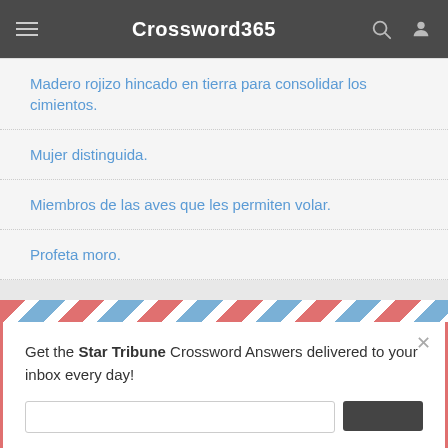Crossword365
Madero rojizo hincado en tierra para consolidar los cimientos.
Mujer distinguida.
Miembros de las aves que les permiten volar.
Profeta moro.
Get the Star Tribune Crossword Answers delivered to your inbox every day!